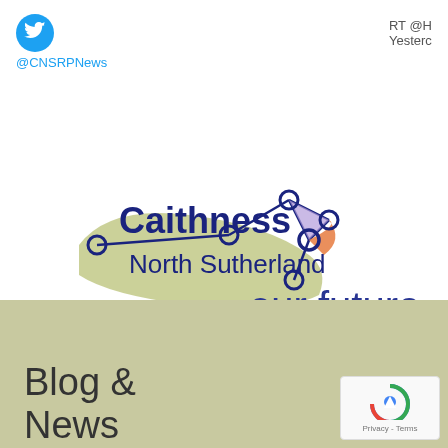[Figure (logo): Twitter bird icon and @CNSRPNews handle in cyan]
RT @H
Yesterc
[Figure (logo): Caithness North Sutherland Our Future logo with network nodes graphic and olive/purple/orange color accents]
Blog &
News